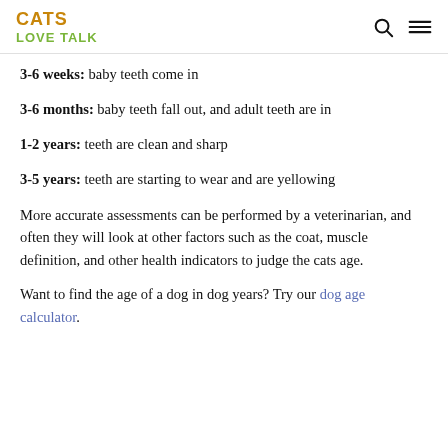CATS LOVE TALK
3-6 weeks: baby teeth come in
3-6 months: baby teeth fall out, and adult teeth are in
1-2 years: teeth are clean and sharp
3-5 years: teeth are starting to wear and are yellowing
More accurate assessments can be performed by a veterinarian, and often they will look at other factors such as the coat, muscle definition, and other health indicators to judge the cats age.
Want to find the age of a dog in dog years? Try our dog age calculator.